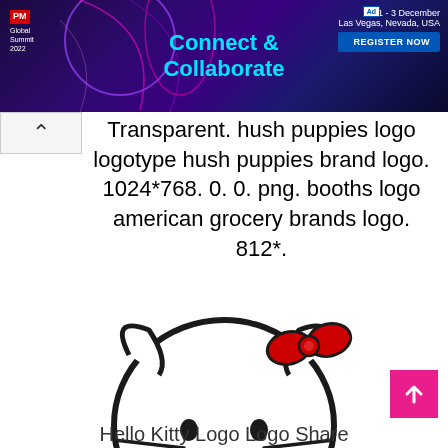[Figure (screenshot): Banner advertisement for PM Global Summit 2022 with purple/dark background and neon design. Text: Connect & Collaborate, 1-3 December, Las Vegas, Nevada, USA, REGISTER NOW]
Transparent. hush puppies logo logotype hush puppies brand logo. 1024*768. 0. 0. png. booths logo american grocery brands logo. 812*.
[Figure (logo): Hello Kitty logo - cartoon cat face with red bow, and red Hello Kitty text below]
Hello Kitty Logo Logo Share